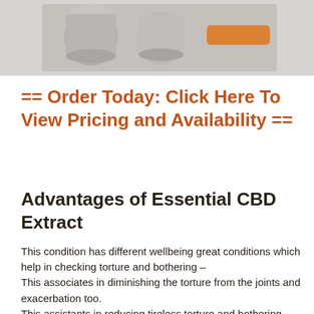[Figure (photo): Product photo of CBD extract bottles/jars on a light background with an orange button element visible]
== Order Today: Click Here To View Pricing and Availability ==
Advantages of Essential CBD Extract
This condition has different wellbeing great conditions which help in checking torture and bothering –
This associates in diminishing the torture from the joints and exacerbation too.
This assistants in reducing tireless torture and bothering.
It helps in reducing pressing factor, and